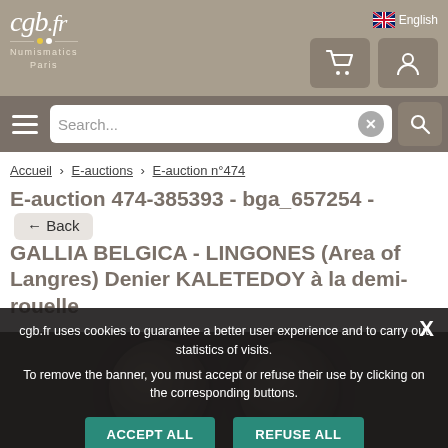cgb.fr Numismatics Paris - English
Search...
Accueil > E-auctions > E-auction n°474
E-auction 474-385393 - bga_657254 - GALLIA BELGICA - LINGONES (Area of Langres) Denier KALETEDOY à la demi-rouelle
[Figure (photo): Ancient coin (denier) - dark bronze coin with relief design, shown as circular coin photograph in dark background]
cgb.fr uses cookies to guarantee a better user experience and to carry out statistics of visits.

To remove the banner, you must accept or refuse their use by clicking on the corresponding buttons.
ACCEPT ALL
REFUSE ALL